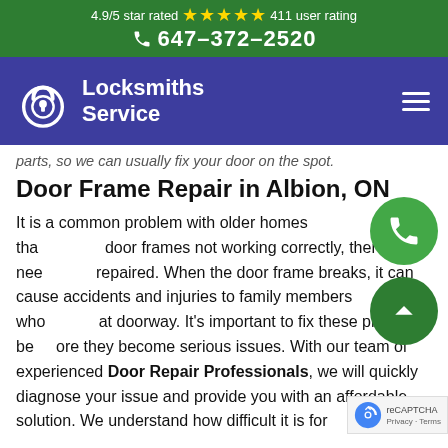4.9/5 star rated ★★★★★ 411 user rating
☎ 647-372-2520
[Figure (logo): Locksmiths Service logo in purple navigation bar with lock icon and hamburger menu]
parts, so we can usually fix your door on the spot.
Door Frame Repair in Albion, ON
It is a common problem with older homes that door frames not working correctly, there they need repaired. When the door frame breaks, it can cause accidents and injuries to family members who at doorway. It's important to fix these problems before they become serious issues. With our team of experienced Door Repair Professionals, we will quickly diagnose your issue and provide you with an affordable solution. We understand how difficult it is for